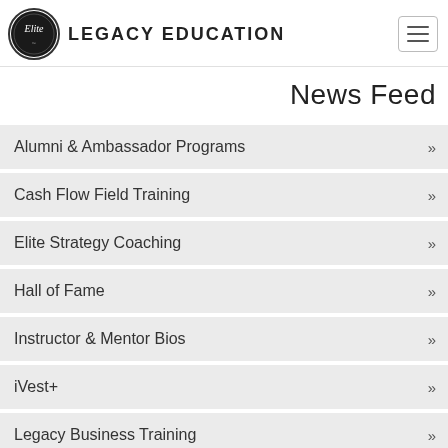Elite LEGACY EDUCATION
News Feed
Alumni & Ambassador Programs
Cash Flow Field Training
Elite Strategy Coaching
Hall of Fame
Instructor & Mentor Bios
iVest+
Legacy Business Training